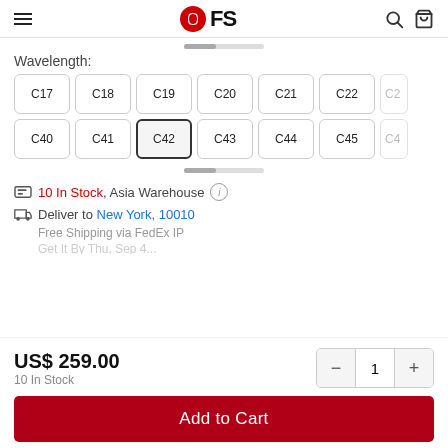FS (FiberStore) — navigation header with hamburger menu, logo, search and cart icons
Wavelength:
C17 C18 C19 C20 C21 C22 C2... C40 C41 C42 (selected) C43 C44 C45 C4...
10 In Stock, Asia Warehouse
Deliver to New York, 10010
Free Shipping via FedEx IP
US$ 259.00
10 In Stock
Add to Cart